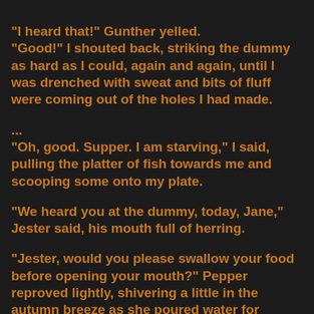"I heard that!" Gunther yelled. "Good!" I shouted back, striking the dummy as hard as I could, again and again, until I was drenched with sweat and bits of fluff were coming out of the holes I had made.
...
"Oh, good. Supper. I am starving," I said, pulling the platter of fish towards me and scooping some onto my plate.

"We heard you at the dummy, today, Jane," Jester said, his mouth full of herring.

"Jester, would you please swallow your food before opening your mouth?" Pepper reproved lightly, shivering a little in the autumn breeze as she poured water for everyone.